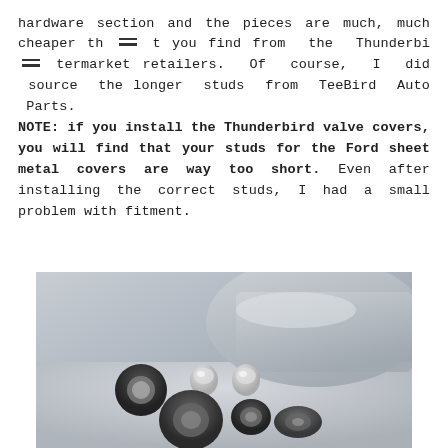hardware section and the pieces are much, much cheaper th [menu icon] t you find from the Thunderbi [menu icon] termarket retailers. Of course, I did source the longer studs from TeeBird Auto Parts. NOTE: if you install the Thunderbird valve covers, you will find that your studs for the Ford sheet metal covers are way too short. Even after installing the correct studs, I had a small problem with fitment.
[Figure (photo): Photo of valve cover hardware components including rubber grommets, chrome acorn nuts, and fasteners laid out on a light surface, with a silver/aluminum valve cover visible in the background.]